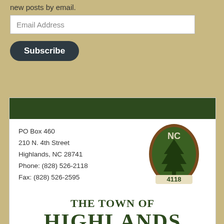new posts by email.
Email Address
Subscribe
[Figure (logo): The Town of Highlands NC logo — oval green seal with pine tree and '4118', flanked by 'NC' text]
PO Box 460
210 N. 4th Street
Highlands, NC 28741
Phone: (828) 526-2118
Fax: (828) 526-2595
THE TOWN OF HIGHLANDS
Visit us online at www.highlandsnc...